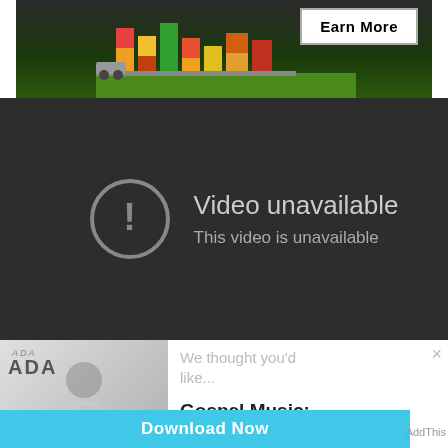[Figure (screenshot): Advertisement banner with 'Earn More' button on dark background with colorful blocks/stacks graphic on grass]
[Figure (screenshot): Video player showing 'Video unavailable' error with exclamation icon circle, text reads 'Video unavailable' and 'This video is unavailable' on dark background]
[Figure (screenshot): Recommendation widget showing ADA album art (black and white photo of woman) on left with 'We thought you'd like...' text and 'Gospel Music: ADA - Yahweh...' title on right, with close X button]
[Figure (screenshot): Download Now button bar in cyan/teal color at bottom, with AddThis label at far right]